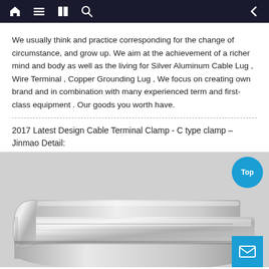Navigation bar with home, menu, book, search icons and back arrow
We usually think and practice corresponding for the change of circumstance, and grow up. We aim at the achievement of a richer mind and body as well as the living for Silver Aluminum Cable Lug , Wire Terminal , Copper Grounding Lug , We focus on creating own brand and in combination with many experienced term and first-class equipment . Our goods you worth have.
2017 Latest Design Cable Terminal Clamp - C type clamp – Jinmao Detail:
[Figure (photo): Photo of a silver C type cable terminal clamp, metallic and shiny, showing the curved clamp shape]